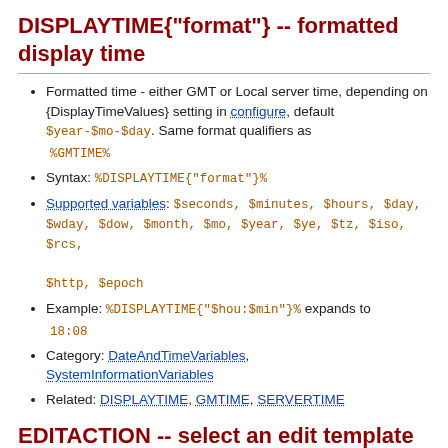DISPLAYTIME{"format"} -- formatted display time
Formatted time - either GMT or Local server time, depending on {DisplayTimeValues} setting in configure, default $year-$mo-$day. Same format qualifiers as %GMTIME%
Syntax: %DISPLAYTIME{"format"}%
Supported variables: $seconds, $minutes, $hours, $day, $wday, $dow, $month, $mo, $year, $ye, $tz, $iso, $rcs, $http, $epoch
Example: %DISPLAYTIME{"$hou:$min"}% expands to 18:08
Category: DateAndTimeVariables, SystemInformationVariables
Related: DISPLAYTIME, GMTIME, SERVERTIME
EDITACTION -- select an edit template
EDITACTION defined in a topic or preference setting will define the use of an editaction template instead of the standard edit. If EDITACTION is defined...